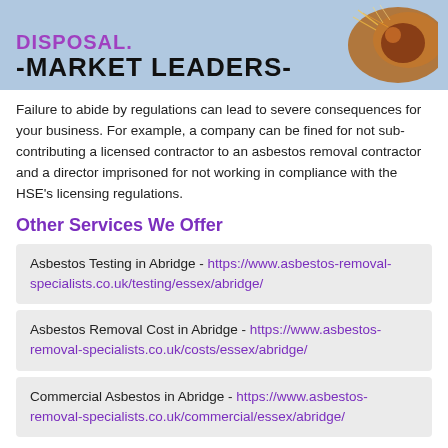[Figure (photo): Banner image with light blue background showing bold text '-MARKET LEADERS-' and a partial heading above it in purple, with a sparking metal grinding image on the right side.]
Failure to abide by regulations can lead to severe consequences for your business. For example, a company can be fined for not sub-contributing a licensed contractor to an asbestos removal contractor and a director imprisoned for not working in compliance with the HSE's licensing regulations.
Other Services We Offer
Asbestos Testing in Abridge - https://www.asbestos-removal-specialists.co.uk/testing/essex/abridge/
Asbestos Removal Cost in Abridge - https://www.asbestos-removal-specialists.co.uk/costs/essex/abridge/
Commercial Asbestos in Abridge - https://www.asbestos-removal-specialists.co.uk/commercial/essex/abridge/